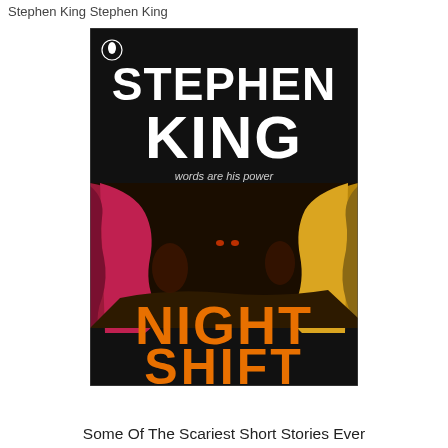Stephen King Stephen King
[Figure (photo): Book cover of 'Night Shift' by Stephen King. Black background with large bold white text 'STEPHEN KING' at top, subtitle 'words are his power' below. Center shows dramatic illustrated scene with dark curtains/drapes in magenta/crimson and gold/yellow tones with mysterious shadowy figures. Bottom has large orange stylized text 'NIGHT SHIFT'. Small Penguin Books logo at top left corner.]
Some Of The Scariest Short Stories Ever